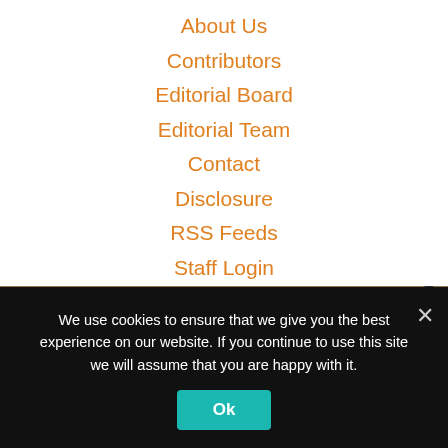About Us
Contributors
Editorial Board
Editorial Team
Contact
Disclosure
RSS Feeds
Staff Login
[Figure (photo): Dark brown horizontal image strip, possibly a close-up photo with a dark circle on the right side]
Never miss a free short story -- subscribe to our weekly newsletter!
We use cookies to ensure that we give you the best experience on our website. If you continue to use this site we will assume that you are happy with it.